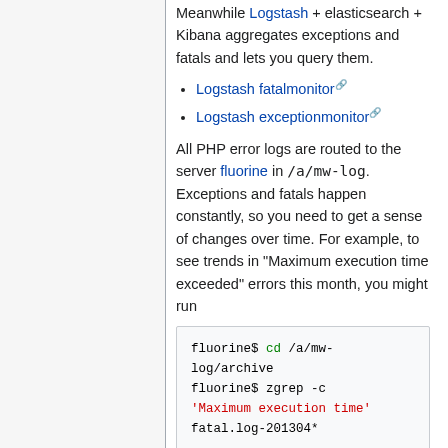Meanwhile Logstash + elasticsearch + Kibana aggregates exceptions and fatals and lets you query them.
Logstash fatalmonitor
Logstash exceptionmonitor
All PHP error logs are routed to the server fluorine in /a/mw-log. Exceptions and fatals happen constantly, so you need to get a sense of changes over time. For example, to see trends in "Maximum execution time exceeded" errors this month, you might run
fluorine$ cd /a/mw-log/archive
fluorine$ zgrep -c 'Maximum execution time' fatal.log-201304*
All we do assumes you (still) exist to